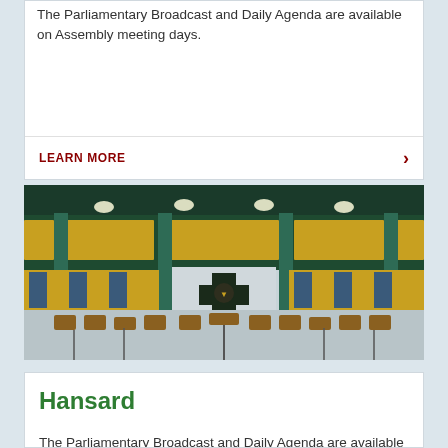The Parliamentary Broadcast and Daily Agenda are available on Assembly meeting days.
LEARN MORE
[Figure (photo): Interior photograph of a parliamentary chamber showing yellow and blue seating, wooden panels, green-teal columns, overhead lighting, and a central podium with a coat of arms.]
Hansard
The Parliamentary Broadcast and Daily Agenda are available on Assembly meeting days.